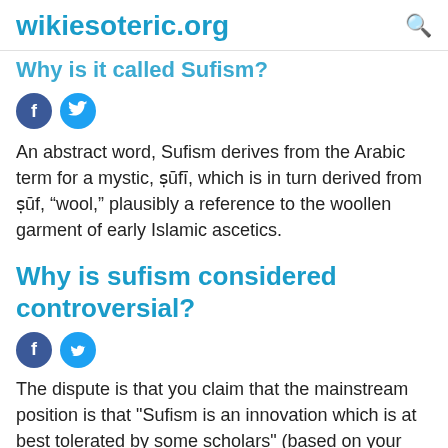wikiesoteric.org
Why is it called Sufism?
An abstract word, Sufism derives from the Arabic term for a mystic, ṣūfī, which is in turn derived from ṣūf, “wool,” plausibly a reference to the woollen garment of early Islamic ascetics.
Why is sufism considered controversial?
The dispute is that you claim that the mainstream position is that "Sufism is an innovation which is at best tolerated by some scholars" (based on your